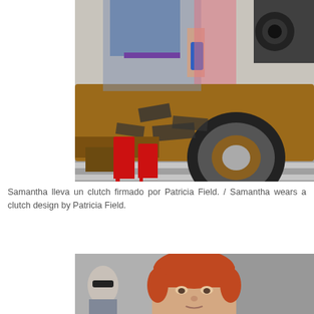[Figure (photo): Woman in red high-heeled boots and denim shorts leaning over a vintage brown car with duct tape patches on a city street]
Samantha lleva un clutch firmado por Patricia Field. / Samantha wears a clutch design by Patricia Field.
[Figure (photo): Close-up of a person with short red/auburn bob haircut, partially visible face]